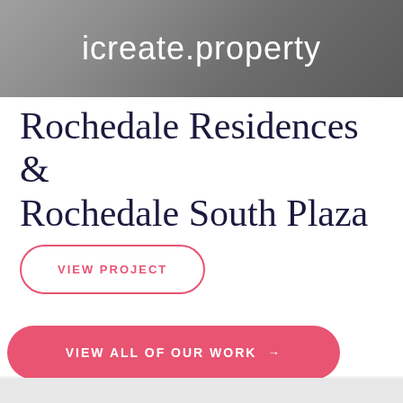icreate.property
Rochedale Residences & Rochedale South Plaza
VIEW PROJECT
VIEW ALL OF OUR WORK →